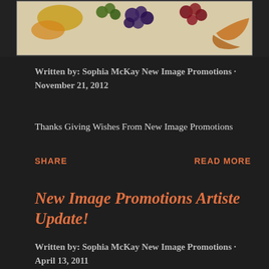[Figure (photo): Partial view of a Thanksgiving cornucopia image with grapes, corn, and autumn leaves on a light background]
Written by: Sophia McKay New Image Promotions · November 21, 2012
Thanks Giving Wishes From New Image Promotions
SHARE
READ MORE
New Image Promotions Artiste Update!
Written by: Sophia McKay New Image Promotions · April 13, 2011